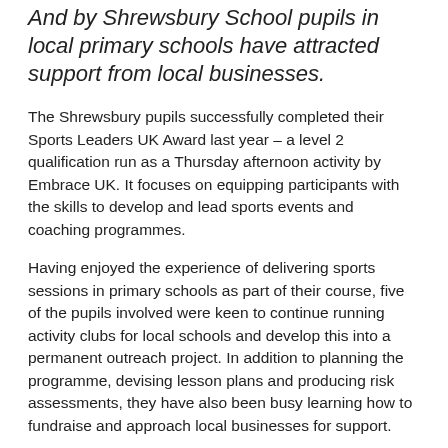And by Shrewsbury School pupils in local primary schools have attracted support from local businesses.
The Shrewsbury pupils successfully completed their Sports Leaders UK Award last year – a level 2 qualification run as a Thursday afternoon activity by Embrace UK. It focuses on equipping participants with the skills to develop and lead sports events and coaching programmes.
Having enjoyed the experience of delivering sports sessions in primary schools as part of their course, five of the pupils involved were keen to continue running activity clubs for local schools and develop this into a permanent outreach project. In addition to planning the programme, devising lesson plans and producing risk assessments, they have also been busy learning how to fundraise and approach local businesses for support.
Last term all five pupils helped with a tag rugby tournament that catered for 60 pupils from local primary